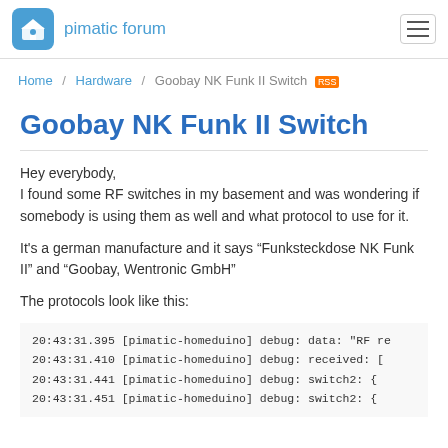pimatic forum
Home / Hardware / Goobay NK Funk II Switch
Goobay NK Funk II Switch
Hey everybody,
I found some RF switches in my basement and was wondering if somebody is using them as well and what protocol to use for it.
It's a german manufacture and it says “Funksteckdose NK Funk II” and “Goobay, Wentronic GmbH”
The protocols look like this:
20:43:31.395 [pimatic-homeduino] debug: data: "RF re
20:43:31.410 [pimatic-homeduino] debug: received: [
20:43:31.441 [pimatic-homeduino] debug: switch2:  {
20:43:31.451 [pimatic-homeduino] debug: switch2:  {